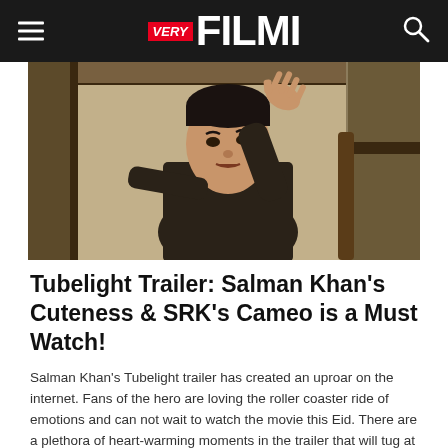VERY FILMI
[Figure (photo): Salman Khan leaning out of a window with hand raised, in period costume, from the movie Tubelight]
Tubelight Trailer: Salman Khan's Cuteness & SRK's Cameo is a Must Watch!
Salman Khan's Tubelight trailer has created an uproar on the internet. Fans of the hero are loving the roller coaster ride of emotions and can not wait to watch the movie this Eid. There are a plethora of heart-warming moments in the trailer that will tug at your heartstring. Khan as